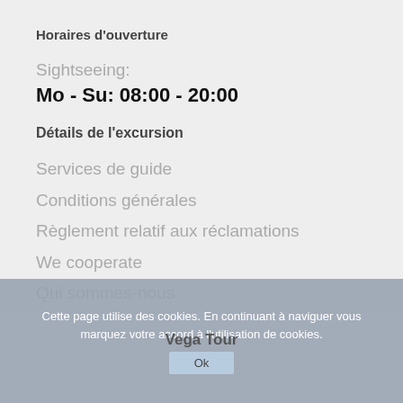Horaires d'ouverture
Sightseeing:
Mo - Su: 08:00 - 20:00
Détails de l'excursion
Services de guide
Conditions générales
Règlement relatif aux réclamations
We cooperate
Qui sommes-nous
Cette page utilise des cookies. En continuant à naviguer vous marquez votre accord à l'utilisation de cookies.
Vega Tour
Ok